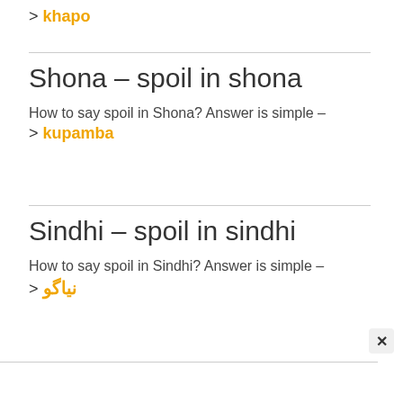> khapo
Shona – spoil in shona
How to say spoil in Shona? Answer is simple –
> kupamba
Sindhi – spoil in sindhi
How to say spoil in Sindhi? Answer is simple –
> نیاگو